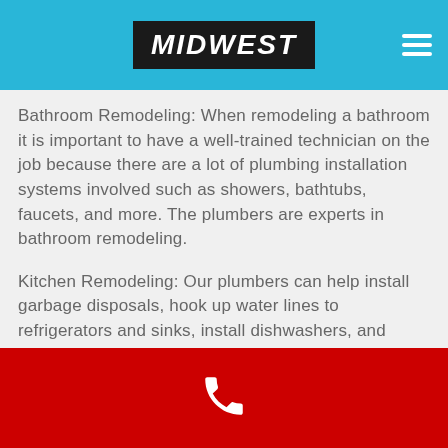MIDWEST
Bathroom Remodeling: When remodeling a bathroom it is important to have a well-trained technician on the job because there are a lot of plumbing installation systems involved such as showers, bathtubs, faucets, and more. The plumbers are experts in bathroom remodeling.
Kitchen Remodeling: Our plumbers can help install garbage disposals, hook up water lines to refrigerators and sinks, install dishwashers, and installing kitchen faucets and sinks.
Water Pipe Replacement: Leaky pipes are probably the number one Butler area plumbing call we receive. It is
Phone contact footer